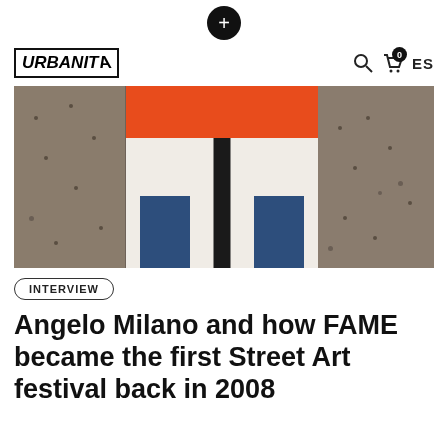+
[Figure (logo): URBANITA logo in bordered box, top-left nav]
[Figure (photo): Street art mural on concrete wall showing geometric shapes: orange horizontal band at top, white field with black vertical stripe in center, two dark blue rectangular pillars at bottom, flanked by concrete-textured areas]
INTERVIEW
Angelo Milano and how FAME became the first Street Art festival back in 2008